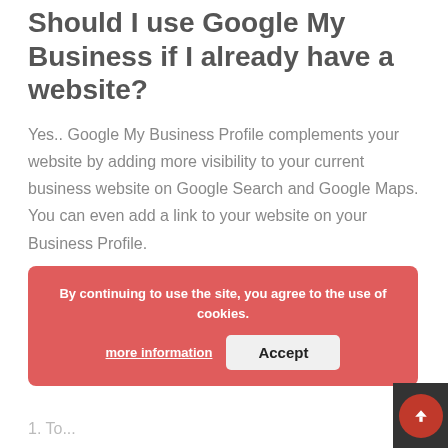Should I use Google My Business if I already have a website?
Yes.. Google My Business Profile complements your website by adding more visibility to your current business website on Google Search and Google Maps. You can even add a link to your website on your Business Profile.
Success Story
Rogers Barbers shop has 157 reviews.. so far...
But this doesn't happen by chance, here are 3 top tips:
[Figure (screenshot): Cookie consent banner with red background stating 'By continuing to use the site, you agree to the use of cookies.' with 'more information' and 'Accept' buttons]
1. To...